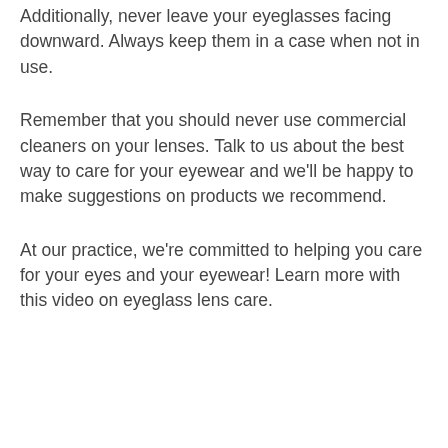Additionally, never leave your eyeglasses facing downward. Always keep them in a case when not in use.
Remember that you should never use commercial cleaners on your lenses. Talk to us about the best way to care for your eyewear and we'll be happy to make suggestions on products we recommend.
At our practice, we're committed to helping you care for your eyes and your eyewear! Learn more with this video on eyeglass lens care.